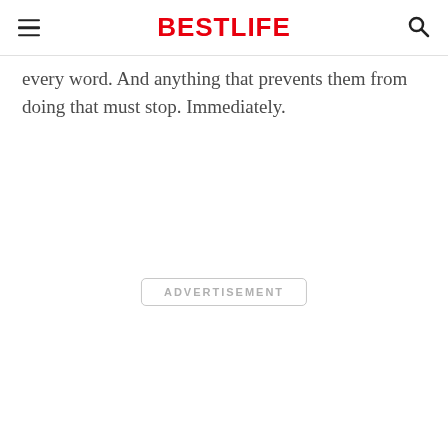BESTLIFE
every word. And anything that prevents them from doing that must stop. Immediately.
ADVERTISEMENT